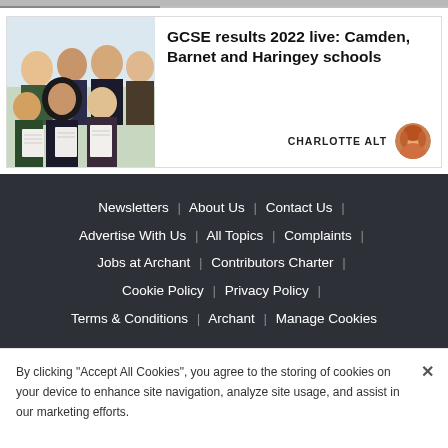[Figure (photo): Partial top strip showing bottom edge of an image]
[Figure (photo): Group of students holding papers/certificates, celebrating GCSE results]
GCSE results 2022 live: Camden, Barnet and Haringey schools
CHARLOTTE ALT
Newsletters | About Us | Contact Us | Advertise With Us | All Topics | Complaints | Jobs at Archant | Contributors Charter | Cookie Policy | Privacy Policy | Terms & Conditions | Archant | Manage Cookies
By clicking "Accept All Cookies", you agree to the storing of cookies on your device to enhance site navigation, analyze site usage, and assist in our marketing efforts.